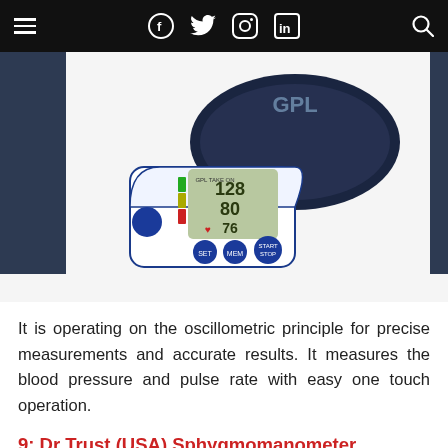Navigation bar with hamburger menu, Facebook, Twitter, Instagram, LinkedIn icons, and search icon
[Figure (photo): A digital automatic blood pressure monitor (BPM device) with a dark navy blue arm cuff, white body with blue buttons labeled MEM, SET, START/STOP, and a digital LCD display showing blood pressure readings. Navy side panels frame the image.]
It is operating on the oscillometric principle for precise measurements and accurate results. It measures the blood pressure and pulse rate with easy one touch operation.
9: Dr Trust (USA) Sphygmomanometer Aneroid Type Manual Blood pressure monitor with